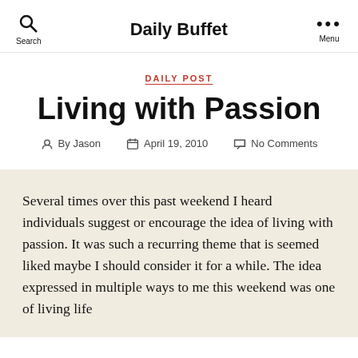Daily Buffet
DAILY POST
Living with Passion
By Jason   April 19, 2010   No Comments
Several times over this past weekend I heard individuals suggest or encourage the idea of living with passion.  It was such a recurring theme that is seemed liked maybe I should consider it for a while.  The idea expressed in multiple ways to me this weekend was one of living life